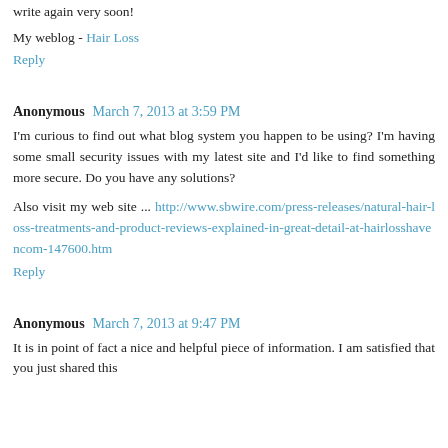write again very soon!
My weblog - Hair Loss
Reply
Anonymous  March 7, 2013 at 3:59 PM
I'm curious to find out what blog system you happen to be using? I'm having some small security issues with my latest site and I'd like to find something more secure. Do you have any solutions?
Also visit my web site ... http://www.sbwire.com/press-releases/natural-hair-loss-treatments-and-product-reviews-explained-in-great-detail-at-hairlosshavencom-147600.htm
Reply
Anonymous  March 7, 2013 at 9:47 PM
It is in point of fact a nice and helpful piece of information. I am satisfied that you just shared this